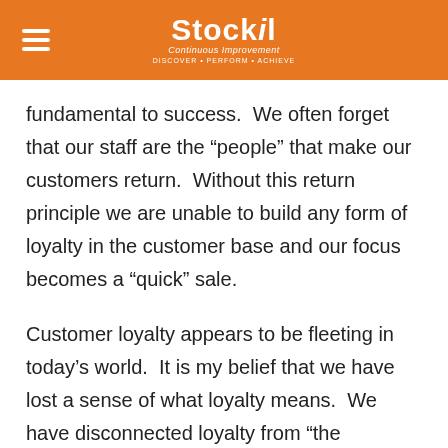Stockil Continuous Improvement
fundamental to success.  We often forget that our staff are the “people” that make our customers return.  Without this return principle we are unable to build any form of loyalty in the customer base and our focus becomes a “quick” sale.
Customer loyalty appears to be fleeting in today’s world.  It is my belief that we have lost a sense of what loyalty means.  We have disconnected loyalty from “the customer growth” requirement.  I have heard too often how loyal customers lose out because “new” customers get a better deal.  We seem to have forgotten the lessons of the past when we heard how keeping an